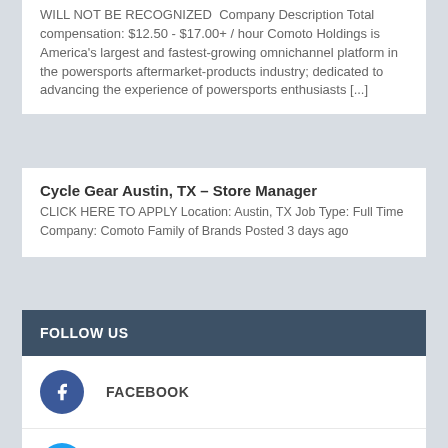WILL NOT BE RECOGNIZED  Company Description Total compensation: $12.50 - $17.00+ / hour Comoto Holdings is America's largest and fastest-growing omnichannel platform in the powersports aftermarket-products industry; dedicated to advancing the experience of powersports enthusiasts [...]
Cycle Gear Austin, TX – Store Manager
CLICK HERE TO APPLY Location: Austin, TX Job Type: Full Time Company: Comoto Family of Brands Posted 3 days ago
FOLLOW US
FACEBOOK
TWITTER
INSTAGRAM